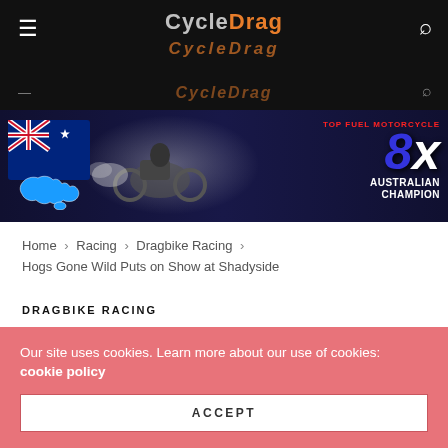CycleDrag
[Figure (photo): Advertisement banner: 8x Australian Champion Top Fuel Motorcycle, with Australian map and motorcycle drag racing imagery]
Home > Racing > Dragbike Racing > Hogs Gone Wild Puts on Show at Shadyside
DRAGBIKE RACING
Hogs Gone Wild Puts on Show at Shadyside
Our site uses cookies. Learn more about our use of cookies: cookie policy